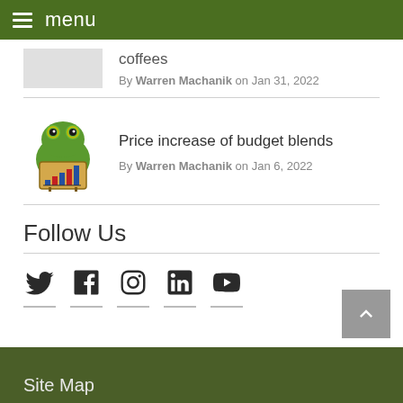menu
coffees
By Warren Machanik on Jan 31, 2022
Price increase of budget blends
By Warren Machanik on Jan 6, 2022
Follow Us
[Figure (infographic): Social media icons: Twitter, Facebook, Instagram, LinkedIn, YouTube]
Site Map